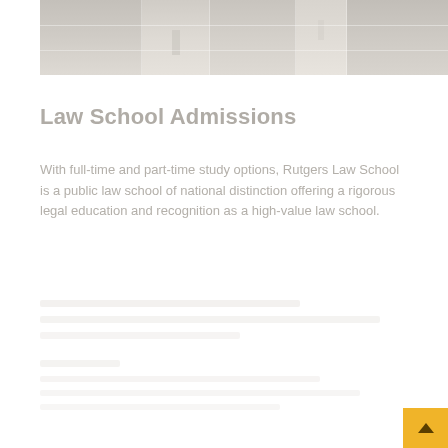[Figure (photo): Exterior photo of a building with glass windows and facade, shown in muted/faded tones]
Law School Admissions
With full-time and part-time study options, Rutgers Law School is a public law school of national distinction offering a rigorous legal education and recognition as a high-value law school.